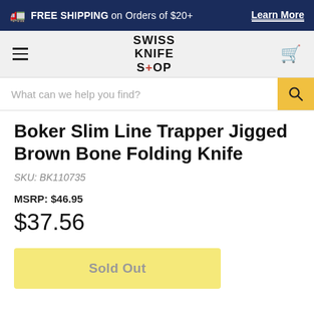🚛 FREE SHIPPING on Orders of $20+ Learn More
SWISS KNIFE SHOP
What can we help you find?
Boker Slim Line Trapper Jigged Brown Bone Folding Knife
SKU: BK110735
MSRP: $46.95
$37.56
Sold Out